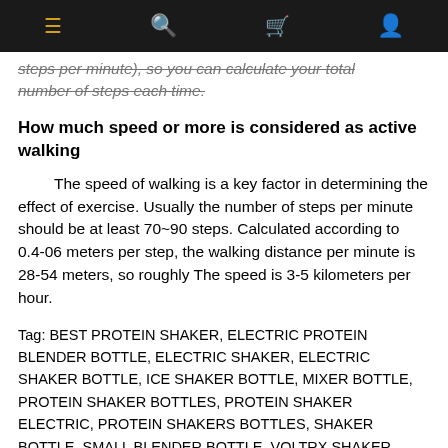≡  🔍  🛒  👤
steps per minute), so you can calculate your total number of steps each time.
How much speed or more is considered as active walking
The speed of walking is a key factor in determining the effect of exercise. Usually the number of steps per minute should be at least 70~90 steps. Calculated according to 0.4-06 meters per step, the walking distance per minute is 28-54 meters, so roughly The speed is 3-5 kilometers per hour.
Tag: BEST PROTEIN SHAKER, ELECTRIC PROTEIN BLENDER BOTTLE, ELECTRIC SHAKER, ELECTRIC SHAKER BOTTLE, ICE SHAKER BOTTLE, MIXER BOTTLE, PROTEIN SHAKER BOTTLES, PROTEIN SHAKER ELECTRIC, PROTEIN SHAKERS BOTTLES, SHAKER BOTTLE, SMALL BLENDER BOTTLE, VOLTRX SHAKER